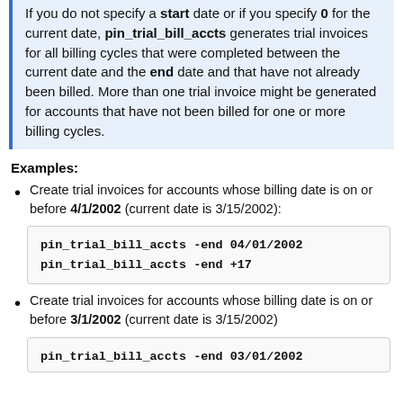If you do not specify a start date or if you specify 0 for the current date, pin_trial_bill_accts generates trial invoices for all billing cycles that were completed between the current date and the end date and that have not already been billed. More than one trial invoice might be generated for accounts that have not been billed for one or more billing cycles.
Examples:
Create trial invoices for accounts whose billing date is on or before 4/1/2002 (current date is 3/15/2002):
pin_trial_bill_accts -end 04/01/2002
pin_trial_bill_accts -end +17
Create trial invoices for accounts whose billing date is on or before 3/1/2002 (current date is 3/15/2002)
pin_trial_bill_accts -end 03/01/2002